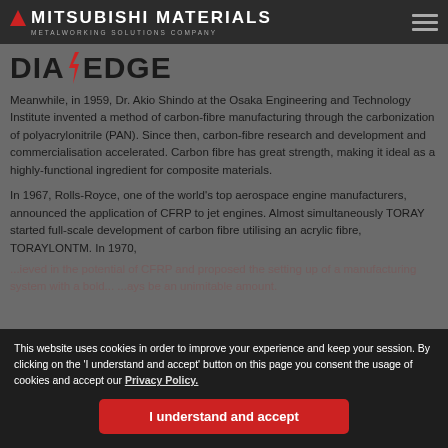MITSUBISHI MATERIALS METALWORKING SOLUTIONS COMPANY
[Figure (logo): DiaEdge logo with lightning bolt symbol]
Meanwhile, in 1959, Dr. Akio Shindo at the Osaka Engineering and Technology Institute invented a method of carbon-fibre manufacturing through the carbonization of polyacrylonitrile (PAN). Since then, carbon-fibre research and development and commercialisation accelerated. Carbon fibre has great strength, making it ideal as a highly-functional ingredient for composite materials.
In 1967, Rolls-Royce, one of the world's top aerospace engine manufacturers, announced the application of CFRP to jet engines. Almost simultaneously TORAY started full-scale development of carbon fibre utilising an acrylic fibre, TORAYLONTM. In 1970,
...ieved in the potential of CFRP and proposed the setting up of a manufacturing system with a bold... ...ays be an unimitable amount.
This website uses cookies in order to improve your experience and keep your session. By clicking on the 'I understand and accept' button on this page you consent the usage of cookies and accept our Privacy Policy.